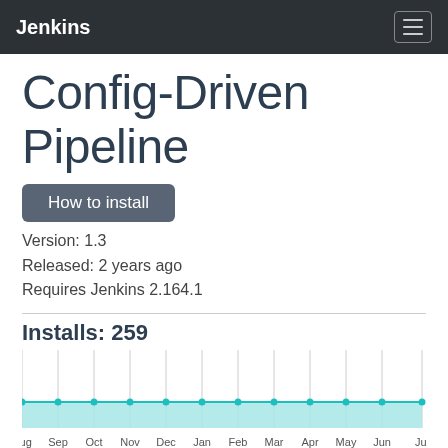Jenkins
Config-Driven Pipeline
How to install
Version: 1.3
Released: 2 years ago
Requires Jenkins 2.164.1
Installs: 259
[Figure (area-chart): Installs over time]
View detailed version information